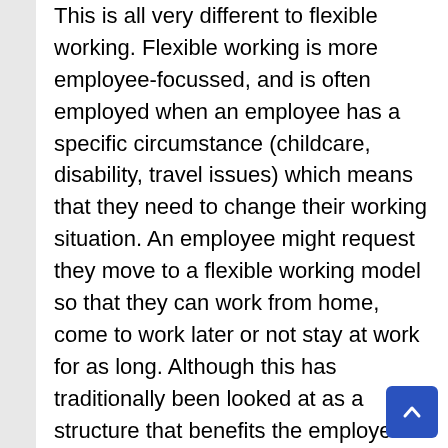This is all very different to flexible working. Flexible working is more employee-focussed, and is often employed when an employee has a specific circumstance (childcare, disability, travel issues) which means that they need to change their working situation. An employee might request they move to a flexible working model so that they can work from home, come to work later or not stay at work for as long. Although this has traditionally been looked at as a structure that benefits the employee but costs the business, recent months have proven otherwise. Many employees have had to change the way they work because they may have to self-isolate, or get sick, meaning that they can still technically work but not in the traditional method. However, many businesses